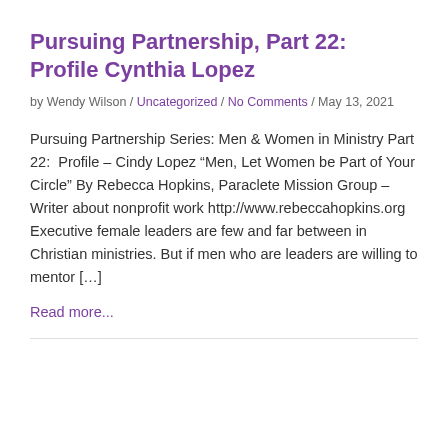Pursuing Partnership, Part 22: Profile Cynthia Lopez
by Wendy Wilson / Uncategorized / No Comments / May 13, 2021
Pursuing Partnership Series: Men & Women in Ministry Part 22:  Profile – Cindy Lopez “Men, Let Women be Part of Your Circle” By Rebecca Hopkins, Paraclete Mission Group – Writer about nonprofit work http://www.rebeccahopkins.org Executive female leaders are few and far between in Christian ministries. But if men who are leaders are willing to mentor […]
Read more...